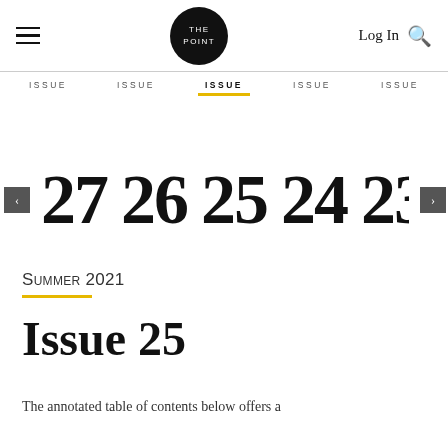THE POINT — Log In [navigation bar with logo]
ISSUE 27  ISSUE 26  ISSUE 25 (active)  ISSUE 24  ISSUE 23
27  26  25  24  23
Summer 2021
Issue 25
The annotated table of contents below offers a